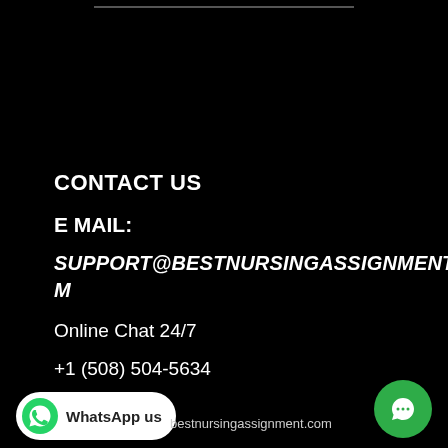CONTACT US
E MAIL:
SUPPORT@BESTNURSINGASSIGNMENT.COM
Online Chat 24/7
+1 (508) 504-5634
[Figure (screenshot): WhatsApp us button with green WhatsApp icon on white rounded pill background]
bestnursingassignment.com
[Figure (other): Green circular chat bubble icon in bottom right corner]